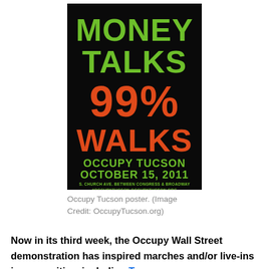[Figure (illustration): Occupy Tucson protest poster with black background. Large green distressed text reads MONEY TALKS, large orange distressed text reads 99% WALKS, below that green bold text reads OCCUPY TUCSON OCTOBER 15, 2011, at the bottom smaller green text reads S. CHURCH AVE. BETWEEN CONGRESS & BROADWAY #OCCUPYTUCSON OCCUPYTUCSON.ORG]
Occupy Tucson poster. (Image Credit: OccupyTucson.org)
Now in its third week, the Occupy Wall Street demonstration has inspired marches and/or live-ins in some cities, including T...